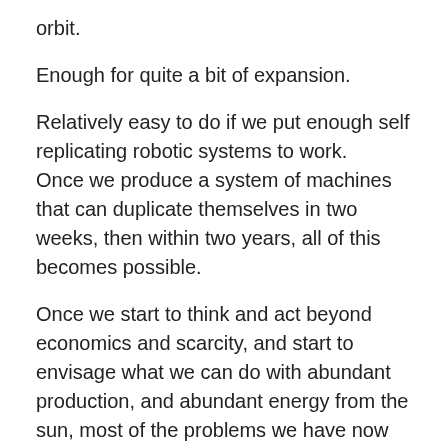orbit.
Enough for quite a bit of expansion.
Relatively easy to do if we put enough self replicating robotic systems to work.
Once we produce a system of machines that can duplicate themselves in two weeks, then within two years, all of this becomes possible.
Once we start to think and act beyond economics and scarcity, and start to envisage what we can do with abundant production, and abundant energy from the sun, most of the problems we have now go away very quickly.
Most people are trapped by thinking in terms of money. Money has been a useful myth, but is rapidly outliving its utility for humanity.